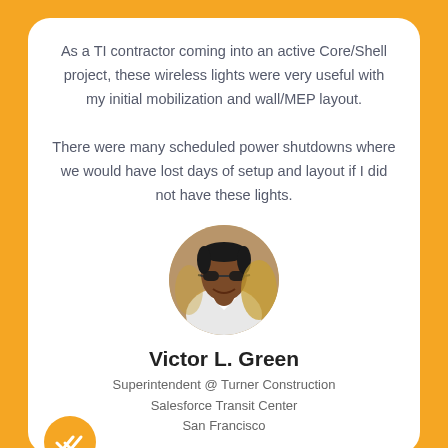As a TI contractor coming into an active Core/Shell project, these wireless lights were very useful with my initial mobilization and wall/MEP layout.

There were many scheduled power shutdowns where we would have lost days of setup and layout if I did not have these lights.
[Figure (photo): Circular portrait photo of Victor L. Green, a man wearing sunglasses and a white shirt, smiling]
Victor L. Green
Superintendent @ Turner Construction
Salesforce Transit Center
San Francisco